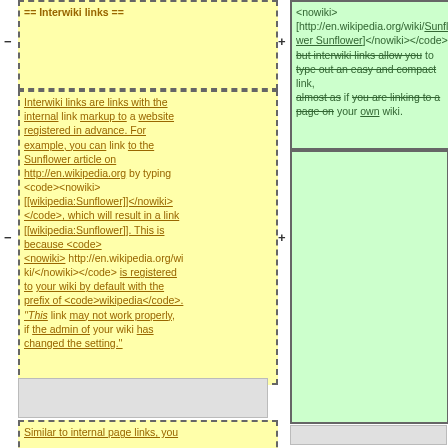== Interwiki links ==
Interwiki links are links with the internal link markup to a website registered in advance. For example, you can link to the Sunflower article on http://en.wikipedia.org by typing <code><nowiki>[[wikipedia:Sunflower]]</nowiki></code>, which will result in a link [[wikipedia:Sunflower]]. This is because <code><nowiki>http://en.wikipedia.org/wi ki/</nowiki></code> is registered to your wiki by default with the prefix of <code>wikipedia</code>. ''This link may not work properly, if the admin of your wiki has changed the setting.''
<nowiki>[http://en.wikipedia.org/wiki/Sunflower Sunflower]</nowiki></code>, but interwiki links allow you to type out an easy and compact link, almost as if you are linking to a page on your own wiki.
Similar to internal page links, you